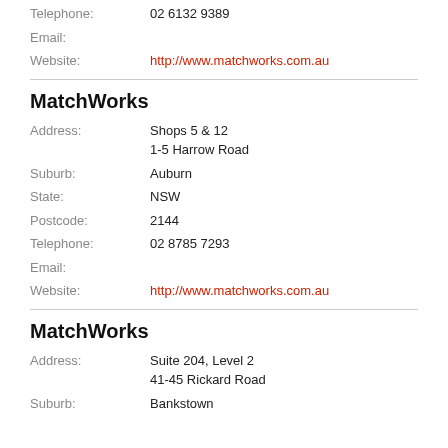Telephone: 02 6132 9389
Email:
Website: http://www.matchworks.com.au
MatchWorks
Address: Shops 5 & 12
1-5 Harrow Road
Suburb: Auburn
State: NSW
Postcode: 2144
Telephone: 02 8785 7293
Email:
Website: http://www.matchworks.com.au
MatchWorks
Address: Suite 204, Level 2
41-45 Rickard Road
Suburb: Bankstown